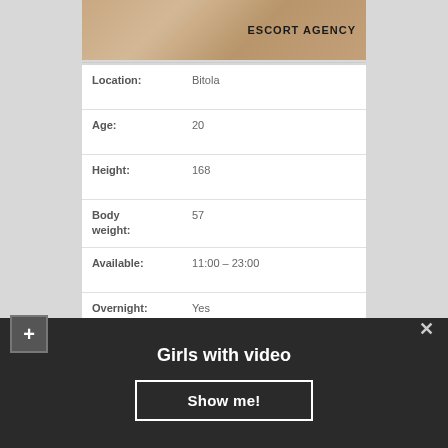[Figure (photo): Photo of person with watch, with ESCORT AGENCY text overlay]
| Location: | Bitola |
| Age: | 20 |
| Height: | 168 |
| Body weight: | 57 |
| Available: | 11:00 – 23:00 |
| Overnight: | Yes |
| Sex services: | Face Sitting, Oral Without (at discretion), Anal |
| Si… | 88-58-88 |
Girls with video
Show me!